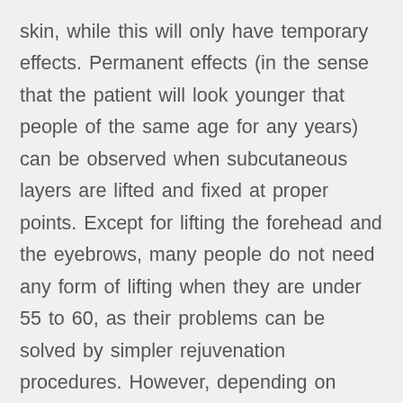skin, while this will only have temporary effects. Permanent effects (in the sense that the patient will look younger that people of the same age for any years) can be observed when subcutaneous layers are lifted and fixed at proper points. Except for lifting the forehead and the eyebrows, many people do not need any form of lifting when they are under 55 to 60, as their problems can be solved by simpler rejuvenation procedures. However, depending on genetic background and individual characteristics, some people may need a